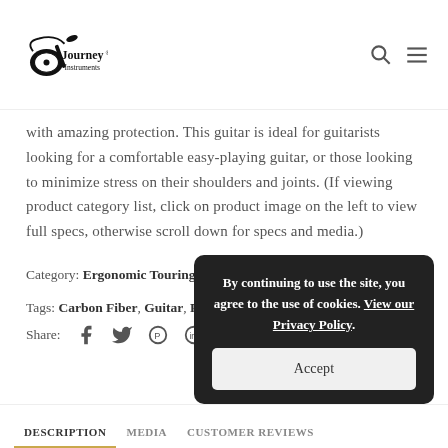Journey Instruments
with amazing protection. This guitar is ideal for guitarists looking for a comfortable easy-playing guitar, or those looking to minimize stress on their shoulders and joints. (If viewing product category list, click on product image on the left to view full specs, otherwise scroll down for specs and media.)
Category: Ergonomic Touring and Student Guitars
Tags: Carbon Fiber, Guitar, Road Trip, travel guitar
Share:
By continuing to use the site, you agree to the use of cookies. View our Privacy Policy. Accept
DESCRIPTION | MEDIA | CUSTOMER REVIEWS